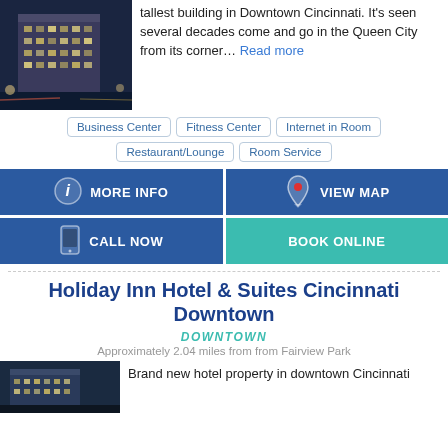[Figure (photo): Exterior photo of a tall historic hotel building at night with city lights]
tallest building in Downtown Cincinnati. It's seen several decades come and go in the Queen City from its corner… Read more
Business Center
Fitness Center
Internet in Room
Restaurant/Lounge
Room Service
MORE INFO
VIEW MAP
CALL NOW
BOOK ONLINE
Holiday Inn Hotel & Suites Cincinnati Downtown
DOWNTOWN
Approximately 2.04 miles from from Fairview Park
[Figure (photo): Exterior view of Holiday Inn Hotel & Suites Cincinnati Downtown]
Brand new hotel property in downtown Cincinnati